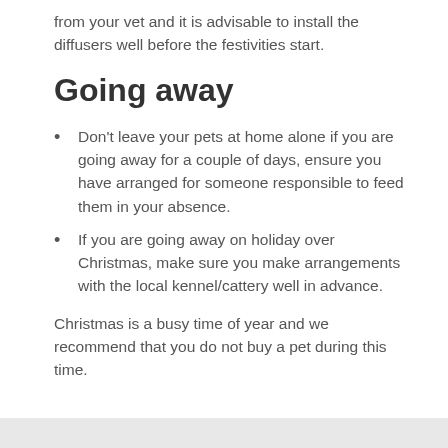from your vet and it is advisable to install the diffusers well before the festivities start.
Going away
Don't leave your pets at home alone if you are going away for a couple of days, ensure you have arranged for someone responsible to feed them in your absence.
If you are going away on holiday over Christmas, make sure you make arrangements with the local kennel/cattery well in advance.
Christmas is a busy time of year and we recommend that you do not buy a pet during this time.